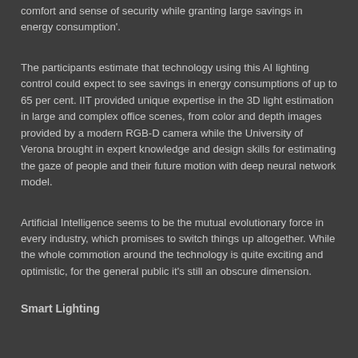comfort and sense of security while granting large savings in energy consumption'.
The participants estimate that technology using this AI lighting control could expect to see savings in energy consumptions of up to 65 per cent. IIT provided unique expertise in the 3D light estimation in large and complex office scenes, from color and depth images provided by a modern RGB-D camera while the University of Verona brought in expert knowledge and design skills for estimating the gaze of people and their future motion with deep neural network model.
Artificial Intelligence seems to be the mutual evolutionary force in every industry, which promises to switch things up altogether. While the whole commotion around the technology is quite exciting and optimistic, for the general public it's still an obscure dimension.
Smart Lighting